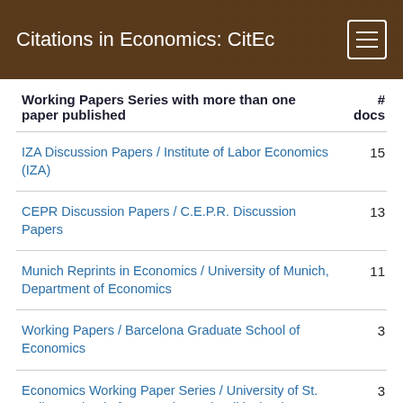Citations in Economics: CitEc
| Working Papers Series with more than one paper published | # docs |
| --- | --- |
| IZA Discussion Papers / Institute of Labor Economics (IZA) | 15 |
| CEPR Discussion Papers / C.E.P.R. Discussion Papers | 13 |
| Munich Reprints in Economics / University of Munich, Department of Economics | 11 |
| Working Papers / Barcelona Graduate School of Economics | 3 |
| Economics Working Paper Series / University of St. Gallen, School of Economics and Political Science | 3 |
| Discussion Papers / University at Albany, SUNY, Department of Economics | 2 |